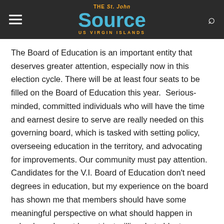The St. John Source — US Virgin Islands
The Board of Education is an important entity that deserves greater attention, especially now in this election cycle. There will be at least four seats to be filled on the Board of Education this year.  Serious-minded, committed individuals who will have the time and earnest desire to serve are really needed on this governing board, which is tasked with setting policy, overseeing education in the territory, and advocating for improvements. Our community must pay attention. Candidates for the V.I. Board of Education don't need degrees in education, but my experience on the board has shown me that members should have some meaningful perspective on what should happen in schools and must be not just willing, but able, to dedicate time and talent to the real work of the board.